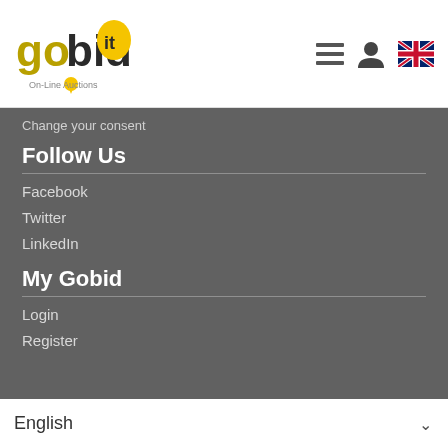gobid.it On-Line Auctions
Change your consent
Follow Us
Facebook
Twitter
LinkedIn
My Gobid
Login
Register
English